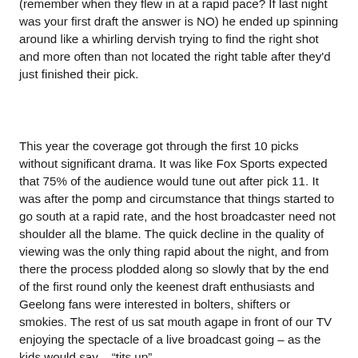(remember when they flew in at a rapid pace? If last night was your first draft the answer is NO) he ended up spinning around like a whirling dervish trying to find the right shot and more often than not located the right table after they'd just finished their pick.
This year the coverage got through the first 10 picks without significant drama. It was like Fox Sports expected that 75% of the audience would tune out after pick 11. It was after the pomp and circumstance that things started to go south at a rapid rate, and the host broadcaster need not shoulder all the blame. The quick decline in the quality of viewing was the only thing rapid about the night, and from there the process plodded along so slowly that by the end of the first round only the keenest draft enthusiasts and Geelong fans were interested in bolters, shifters or smokies. The rest of us sat mouth agape in front of our TV enjoying the spectacle of a live broadcast going – as the kids would say – “its up”